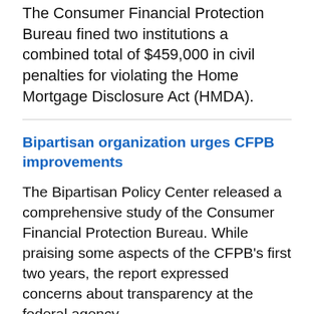The Consumer Financial Protection Bureau fined two institutions a combined total of $459,000 in civil penalties for violating the Home Mortgage Disclosure Act (HMDA).
Bipartisan organization urges CFPB improvements
The Bipartisan Policy Center released a comprehensive study of the Consumer Financial Protection Bureau. While praising some aspects of the CFPB’s first two years, the report expressed concerns about transparency at the federal agency.
More articles:
GET OUR NEWSLETTER
Sign up to receive CFPB Journal